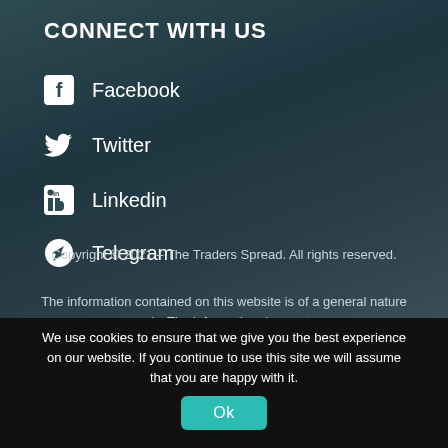CONNECT WITH US
Facebook
Twitter
Linkedin
Telegram
Copyright © 2021 – The Traders Spread. All rights reserved.
The information contained on this website is of a general nature only. The information does not
We use cookies to ensure that we give you the best experience on our website. If you continue to use this site we will assume that you are happy with it.
Ok